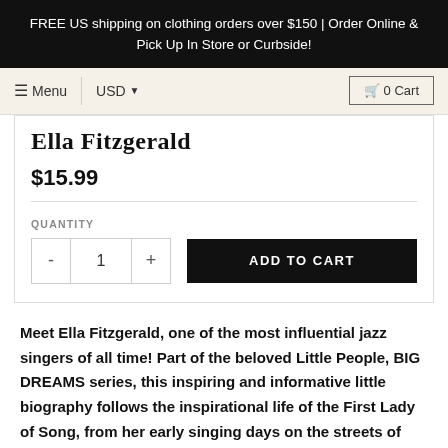FREE US shipping on clothing orders over $150 | Order Online & Pick Up In Store or Curbside!
Menu  USD  0 Cart
Ella Fitzgerald
$15.99
QUANTITY
- 1 + ADD TO CART
Meet Ella Fitzgerald, one of the most influential jazz singers of all time! Part of the beloved Little People, BIG DREAMS series, this inspiring and informative little biography follows the inspirational life of the First Lady of Song, from her early singing days on the streets of Harlem to her success as a jazz legend, with the